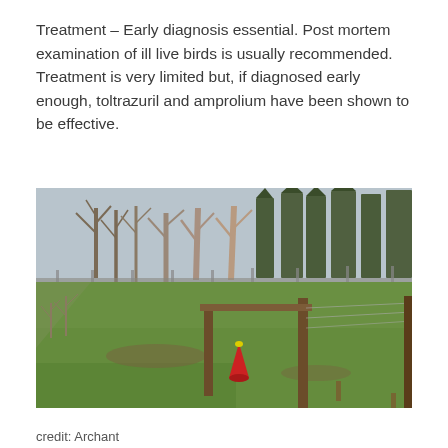Treatment – Early diagnosis essential. Post mortem examination of ill live birds is usually recommended. Treatment is very limited but, if diagnosed early enough, toltrazuril and amprolium have been shown to be effective.
[Figure (photo): Outdoor bird enclosure with green grass, wooden posts supporting a crossbar, a red conical feeder/drinker, wire fencing in the background, and bare trees with some conifers beyond the fence on an overcast day.]
credit: Archant